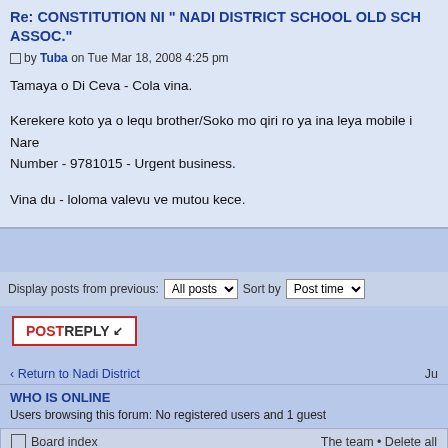Re: CONSTITUTION NI " NADI DISTRICT SCHOOL OLD SC ASSOC."
by Tuba on Tue Mar 18, 2008 4:25 pm
Tamaya o Di Ceva - Cola vina.

Kerekere koto ya o lequ brother/Soko mo qiri ro ya ina leya mobile i Nare Number - 9781015 - Urgent business.

Vina du - loloma valevu ve mutou kece.
Display posts from previous: All posts Sort by Post time
POSTREPLY
Return to Nadi District
WHO IS ONLINE
Users browsing this forum: No registered users and 1 guest
Board index   The team • Delete all
Powered by phpBB © 2000, 2002, 2005, 2007 phpBB